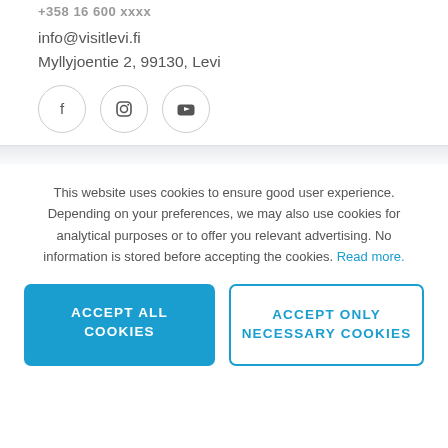info@visitlevi.fi
Myllyjoentie 2, 99130, Levi
[Figure (other): Three social media icon buttons in circles: Facebook (f), Instagram (camera), YouTube (play button)]
This website uses cookies to ensure good user experience. Depending on your preferences, we may also use cookies for analytical purposes or to offer you relevant advertising. No information is stored before accepting the cookies. Read more.
ACCEPT ALL COOKIES
ACCEPT ONLY NECESSARY COOKIES